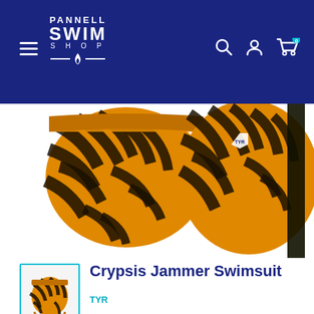[Figure (screenshot): Pannell Swim Shop website header with logo, hamburger menu, search, account, and cart icons on dark navy background]
[Figure (photo): Close-up of TYR Crypsis Jammer Swimsuit showing gold and black tiger-stripe pattern, two views side by side]
[Figure (photo): Small thumbnail image of the full TYR Crypsis Jammer Swimsuit in gold/black pattern with teal border]
Crypsis Jammer Swimsuit
TYR